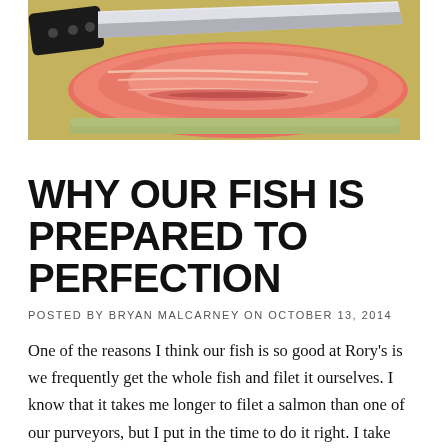[Figure (photo): A salmon fillet with a chef's knife on a yellow-green cutting board, being filleted]
WHY OUR FISH IS PREPARED TO PERFECTION
POSTED BY BRYAN MALCARNEY ON OCTOBER 13, 2014
One of the reasons I think our fish is so good at Rory's is we frequently get the whole fish and filet it ourselves. I know that it takes me longer to filet a salmon than one of our purveyors, but I put in the time to do it right. I take care with each cut to make sure that the filet remains intact. With needle nose pliers I remove all the pin bones